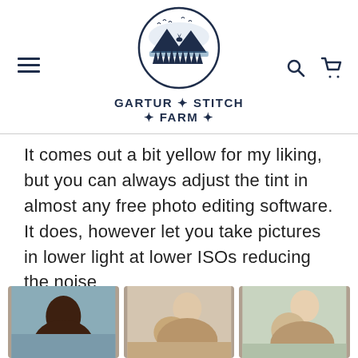[Figure (logo): Gartur Stitch Farm logo: circular emblem with mountains, trees, and a deer silhouette above text reading GARTUR STITCH FARM]
It comes out a bit yellow for my liking, but you can always adjust the tint in almost any free photo editing software. It does, however let you take pictures in lower light at lower ISOs reducing the noise
[Figure (photo): Three photos showing adults holding babies/infants in warm indoor settings]
[Figure (photo): Adult holding baby, side profile shot]
[Figure (photo): Adult holding baby, side profile close-up]